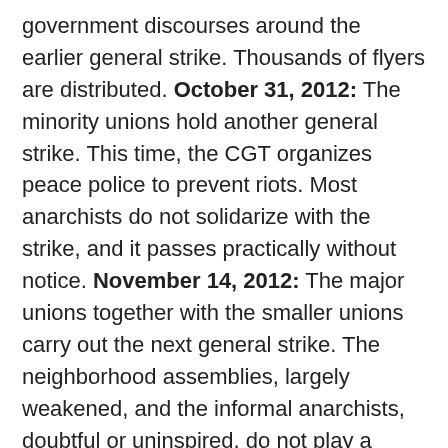government discourses around the earlier general strike. Thousands of flyers are distributed. October 31, 2012: The minority unions hold another general strike. This time, the CGT organizes peace police to prevent riots. Most anarchists do not solidarize with the strike, and it passes practically without notice. November 14, 2012: The major unions together with the smaller unions carry out the next general strike. The neighborhood assemblies, largely weakened, and the informal anarchists, doubtful or uninspired, do not play a major role in preparing. In Barcelona, the protests during the strike are massive, but the police control the streets and brutalize people from one end of the city to the other. The general mood after the strike is of disappointment or powerlessness.